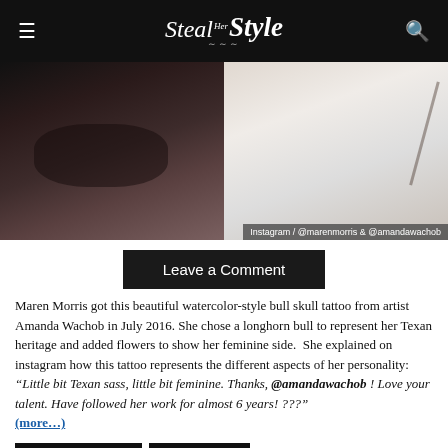Steal Her Style
[Figure (photo): Split photo: left side shows Maren Morris with tattoo visible, right side shows tattoo detail by Amanda Wachob. Caption overlay: Instagram / @marenmorris & @amandawachob]
Instagram / @marenmorris & @amandawachob
Leave a Comment
Maren Morris got this beautiful watercolor-style bull skull tattoo from artist Amanda Wachob in July 2016. She chose a longhorn bull to represent her Texan heritage and added flowers to show her feminine side.  She explained on instagram how this tattoo represents the different aspects of her personality:  “Little bit Texan sass, little bit feminine. Thanks, @amandawachob ! Love your talent. Have followed her work for almost 6 years! ???” (more…)
Amanda Wachob
Animal Skull
Being True To Yourself
Bicep
Home
Texas